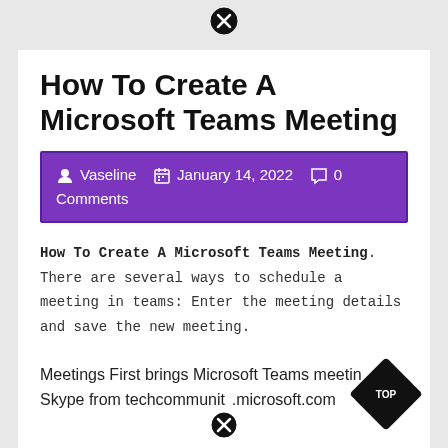How To Create A Microsoft Teams Meeting
Vaseline  January 14, 2022  0 Comments
How To Create A Microsoft Teams Meeting. There are several ways to schedule a meeting in teams: Enter the meeting details and save the new meeting.
Meetings First brings Microsoft Teams meetings to Skype from techcommunity.microsoft.com